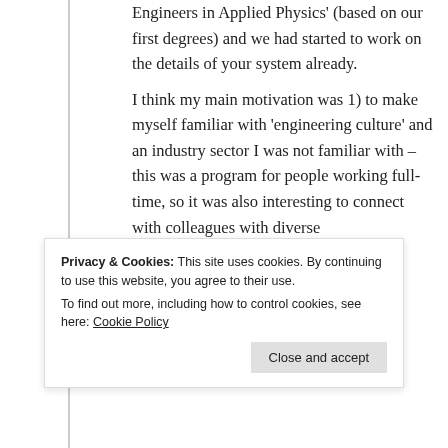Engineers in Applied Physics' (based on our first degrees) and we had started to work on the details of your system already.
I think my main motivation was 1) to make myself familiar with 'engineering culture' and an industry sector I was not familiar with – this was a program for people working full-time, so it was also interesting to connect with colleagues with diverse
Privacy & Cookies: This site uses cookies. By continuing to use this website, you agree to their use.
To find out more, including how to control cookies, see here: Cookie Policy